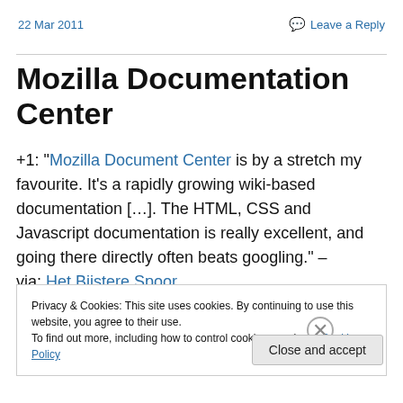22 Mar 2011   Leave a Reply
Mozilla Documentation Center
+1: “Mozilla Document Center is by a stretch my favourite. It’s a rapidly growing wiki-based documentation […]. The HTML, CSS and Javascript documentation is really excellent, and going there directly often beats googling.” – via: Het Biistere Spoor
Privacy & Cookies: This site uses cookies. By continuing to use this website, you agree to their use.
To find out more, including how to control cookies, see here: Cookie Policy
Close and accept